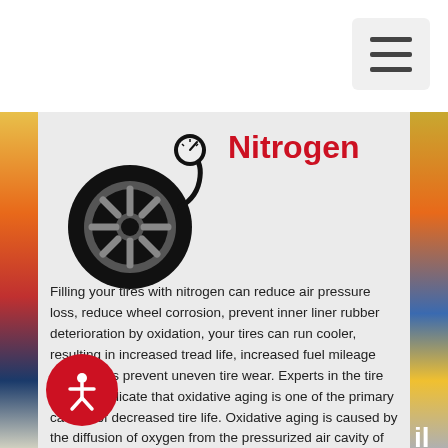[Figure (illustration): Hamburger menu button (three horizontal lines) in a rounded rectangle, top right corner]
[Figure (illustration): Black icon of a car tire/wheel with a pressure gauge attached]
Nitrogen
Filling your tires with nitrogen can reduce air pressure loss, reduce wheel corrosion, prevent inner liner rubber deterioration by oxidation, your tires can run cooler, resulting in increased tread life, increased fuel mileage and it helps prevent uneven tire wear. Experts in the tire industry indicate that oxidative aging is one of the primary causes of decreased tire life. Oxidative aging is caused by the diffusion of oxygen from the pressurized air cavity of the tire to the outside atmosphere. Tires that
[Figure (illustration): Accessibility icon (person in a circle) in a red circle, bottom left]